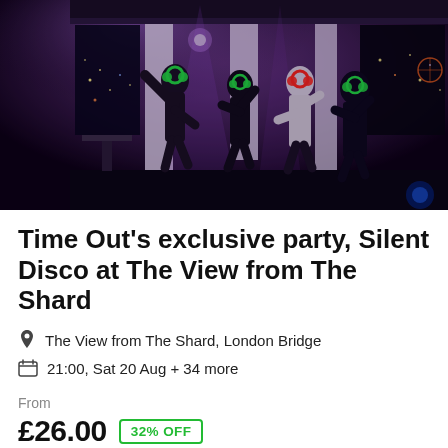[Figure (photo): People dancing at a silent disco event with glowing headphones (green and red), high above London at night, visible city lights through large windows. Purple/blue mood lighting.]
Time Out's exclusive party, Silent Disco at The View from The Shard
The View from The Shard, London Bridge
21:00, Sat 20 Aug + 34 more
From
£26.00  32% OFF